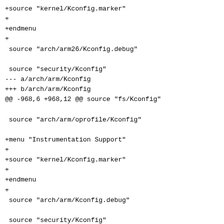+source "kernel/Kconfig.marker"
+
+endmenu
+
 source "arch/arm26/Kconfig.debug"

 source "security/Kconfig"
--- a/arch/arm/Kconfig
+++ b/arch/arm/Kconfig
@@ -968,6 +968,12 @@ source "fs/Kconfig"

 source "arch/arm/oprofile/Kconfig"

+menu "Instrumentation Support"
+
+source "kernel/Kconfig.marker"
+
+endmenu
+
 source "arch/arm/Kconfig.debug"

 source "security/Kconfig"
--- a/arch/cris/Kconfig
+++ b/arch/cris/Kconfig
@@ -191,6 +191,12 @@ source "sound/Kconfig"

 source "drivers/usb/Kconfig"

+menu "Instrumentation Support"
+